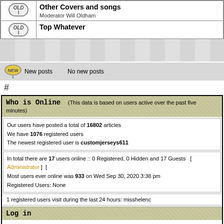| [OLD icon] | Other Covers and songs
Moderator Will Oldham |
| [OLD icon] | Top Whatever |
[Figure (other): Watermark/decorative background band with muted figures]
New posts   No new posts
#
Who is Online  (This data is based on users active over the past five minutes)
Our users have posted a total of 16802 articles
We have 1076 registered users
The newest registered user is customjerseys611
In total there are 17 users online :: 0 Registered, 0 Hidden and 17 Guests   [ Administrator ]  [
Most users ever online was 933 on Wed Sep 30, 2020 3:38 pm
Registered Users: None
1 registered users visit during the last 24 hours: misshelenc
Log in
Username:   Password:   Log me o
Powered by phpBB © 2001, 2002 phpBB G